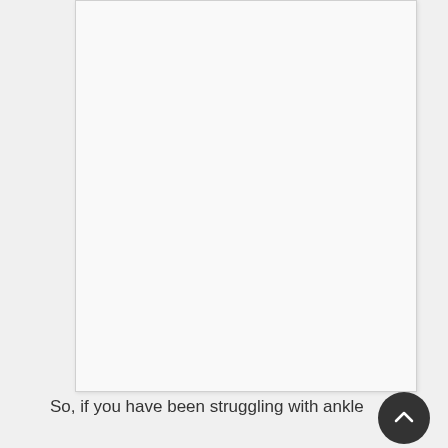[Figure (other): A blank/white document page area with light gray background and subtle border, representing a page in a web viewer.]
So, if you have been struggling with ankle